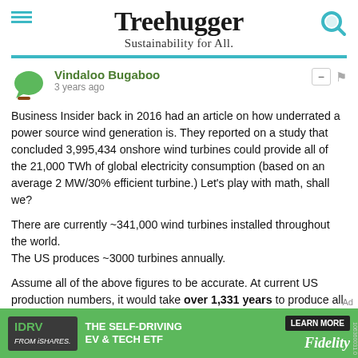Treehugger — Sustainability for All.
Vindaloo Bugaboo — 3 years ago
Business Insider back in 2016 had an article on how underrated a power source wind generation is. They reported on a study that concluded 3,995,434 onshore wind turbines could provide all of the 21,000 TWh of global electricity consumption (based on an average 2 MW/30% efficient turbine.) Let's play with math, shall we?
There are currently ~341,000 wind turbines installed throughout the world.
The US produces ~3000 turbines annually.
Assume all of the above figures to be accurate. At current US production numbers, it would take over 1,331 years to produce all of those nearly 4 million turbines required for current global electricity use. Increasing production by a factor of 10 shortens it to just 133...
[Figure (other): Fidelity IDRV ETF advertisement banner at bottom of page]